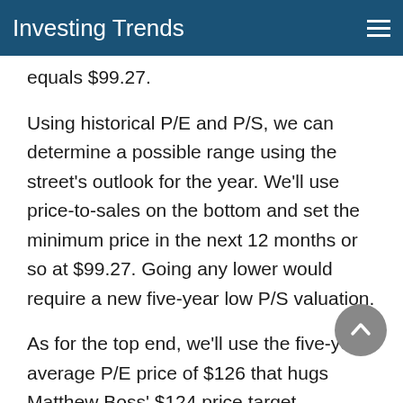Investing Trends
equals $99.27.
Using historical P/E and P/S, we can determine a possible range using the street's outlook for the year. We'll use price-to-sales on the bottom and set the minimum price in the next 12 months or so at $99.27. Going any lower would require a new five-year low P/S valuation.
As for the top end, we'll use the five-year average P/E price of $126 that hugs Matthew Boss' $124 price target.
In the short-term, RL's price is currently in a downtrend. The 200 day moving average of $100